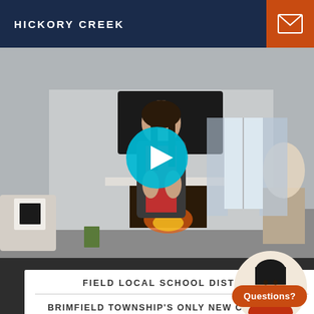HICKORY CREEK
[Figure (photo): Video thumbnail showing a woman in a red top and dark blazer standing in a home living room with a fireplace and decorative furnishings; a cyan play button overlay is centered on the image]
FIELD LOCAL SCHOOL DISTRICT
BRIMFIELD TOWNSHIP'S ONLY NEW CONSTRUCTION COMMUNITY